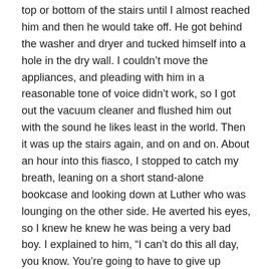top or bottom of the stairs until I almost reached him and then he would take off. He got behind the washer and dryer and tucked himself into a hole in the dry wall. I couldn't move the appliances, and pleading with him in a reasonable tone of voice didn't work, so I got out the vacuum cleaner and flushed him out with the sound he likes least in the world. Then it was up the stairs again, and on and on. About an hour into this fiasco, I stopped to catch my breath, leaning on a short stand-alone bookcase and looking down at Luther who was lounging on the other side. He averted his eyes, so I knew he knew he was being a very bad boy. I explained to him, “I can't do this all day, you know. You're going to have to give up sometime, because I'm not going to!” With that, we took up the chase again. I finally trapped him in the upstairs bathroom.
United Airlines is even more difficult to deal with, because